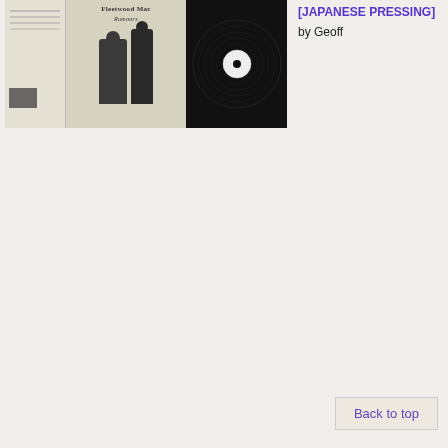[Figure (photo): Photograph of Fleetwood Mac Rumours album cover and vinyl record with insert booklet spread out]
[JAPANESE PRESSING]
by Geoff
Back to top